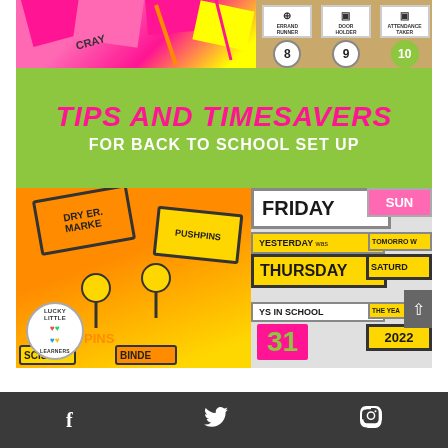[Figure (photo): Collage promotional image for 'Tips and Timesavers for Back to School Set Up' by Lucky Little Learners. Shows colorful school supply cards (push pins, dry erase markers, scissors, binders) in orange and yellow on a wooden background (left side), and calendar/days-in-school cards showing Friday, Yesterday was Thursday, Tomorrow, Saturday, Days in School 31, The Year 2022 on a grey background (right side). Green banner in center with pink and white text. Lucky Little Learners logo in bottom left.]
TIPS AND TIMESAVERS
FOR BACK TO SCHOOL SET UP
[Figure (logo): Lucky Little Learners circular logo with colorful heart/clover design]